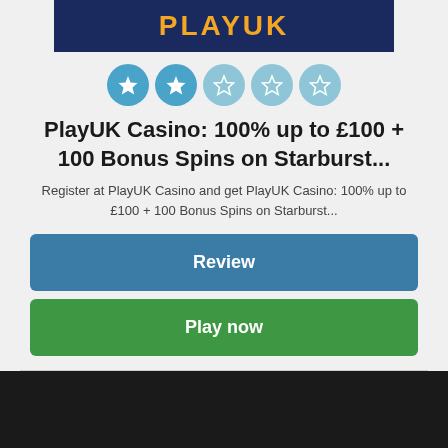[Figure (logo): PlayUK Casino banner logo with dark blue background and orange text]
[Figure (other): Rating stars: 2 filled blue stars and 3 empty/outline stars in blue circles]
PlayUK Casino: 100% up to £100 + 100 Bonus Spins on Starburst...
Register at PlayUK Casino and get PlayUK Casino: 100% up to £100 + 100 Bonus Spins on Starburst...
Review
Play now
Fast Links